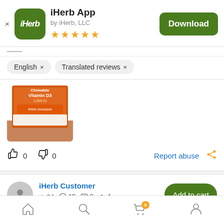[Figure (screenshot): iHerb app store banner with green app icon, app name 'iHerb App', subtitle 'by iHerb, LLC', 5 star rating, and Download button]
English × Translated reviews ×
[Figure (photo): Partial image of an orange vitamin D3 supplement bottle being held by a hand]
👍 0  👎 0  Report abuse
iHerb Customer  ☆ 24  📷 19  💬 0  👍 1
[Figure (infographic): Bottom navigation bar with home, search, cart (with 0 badge), and profile icons]